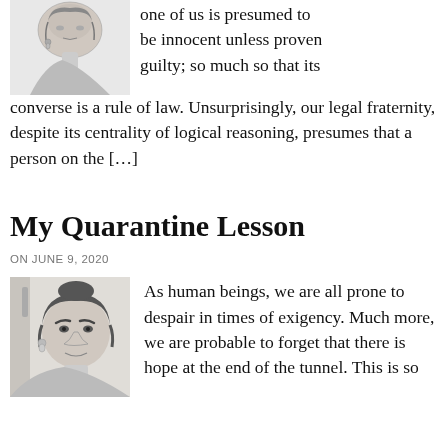[Figure (illustration): Pencil sketch portrait of a woman with earrings, cropped at top of page]
one of us is presumed to be innocent unless proven guilty; so much so that its converse is a rule of law. Unsurprisingly, our legal fraternity, despite its centrality of logical reasoning, presumes that a person on the […]
My Quarantine Lesson
ON JUNE 9, 2020
[Figure (illustration): Pencil sketch portrait of a young woman with short hair and earrings]
As human beings, we are all prone to despair in times of exigency. Much more, we are probable to forget that there is hope at the end of the tunnel. This is so